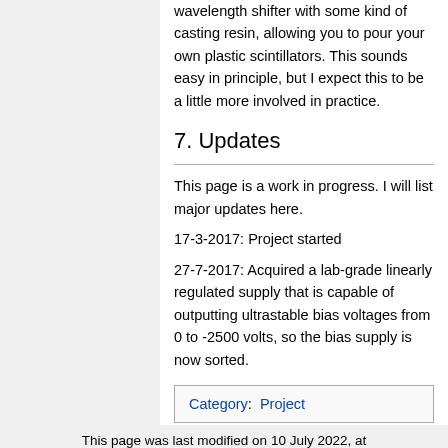wavelength shifter with some kind of casting resin, allowing you to pour your own plastic scintillators. This sounds easy in principle, but I expect this to be a little more involved in practice.
7. Updates
This page is a work in progress. I will list major updates here.
17-3-2017: Project started
27-7-2017: Acquired a lab-grade linearly regulated supply that is capable of outputting ultrastable bias voltages from 0 to -2500 volts, so the bias supply is now sorted.
Category:  Project
This page was last modified on 10 July 2022, at